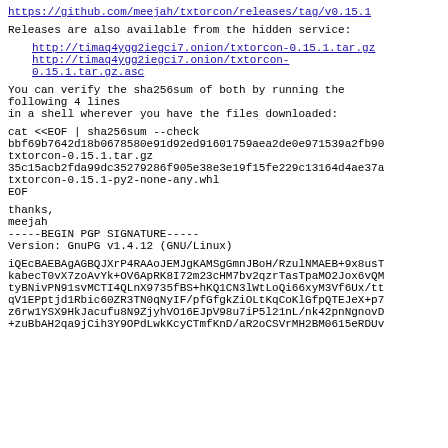https://github.com/meejah/txtorcon/releases/tag/v0.15.1
Releases are also available from the hidden service:
http://timaq4ygg2iegci7.onion/txtorcon-0.15.1.tar.gz
http://timaq4ygg2iegci7.onion/txtorcon-0.15.1.tar.gz.asc
You can verify the sha256sum of both by running the following 4 lines
in a shell wherever you have the files downloaded:
cat <<EOF | sha256sum --check
bbf69b7642d18b0678580e91d92ed91601759aea2de0e971539a2fb9...
txtorcon-0.15.1.tar.gz
35c15acb2fda99dc35279286f905e38e3e19f15fe229c13164d4ae37...
txtorcon-0.15.1-py2-none-any.whl
EOF
thanks,
meejah
-----BEGIN PGP SIGNATURE-----
Version: GnuPG v1.4.12 (GNU/Linux)
iQEcBAEBAgAGBQJXrP4RAAoJEMJgKAMSgGmnJBoH/RzulNMAEB+9x8us...
kabecT0vX7zoAvYk+OV6ApRK8I72m23cHM7bv2qzrTasTpaMO2Jox6vQM...
tyBNivPN91svMCTI4QLnX9735fBS+hKQ1CN3lWtLoQi66xyM3Vf6Ux/t...
qV1EPptjd1Rbic60ZR3TN0qNyIF/pfGfgkZiOLtKqCoKlGfpQTEJeX+p...
z6rw1YSX9HkJacufu8N9ZjyhVO16EJpV98u7iP5l21nL/nk42pnNgnov...
+zuBbAH2qa9jCih3Y9OPdLwkKcyCTmfKnD/aR2oCSVrMH2BM0615eRDU...